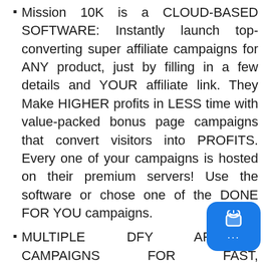Mission 10K is a CLOUD-BASED SOFTWARE: Instantly launch top-converting super affiliate campaigns for ANY product, just by filling in a few details and YOUR affiliate link. They Make HIGHER profits in LESS time with value-packed bonus page campaigns that convert visitors into PROFITS. Every one of your campaigns is hosted on their premium servers! Use the software or chose one of the DONE FOR YOU campaigns.
MULTIPLE DFY AFFILIATE CAMPAIGNS FOR FAST, CONSISTENT RESULTS: Professionally-designed affiliate campaigns with review video, demo video, top-converting elements from each product's sales page, PLUS a customizable countdown timer to